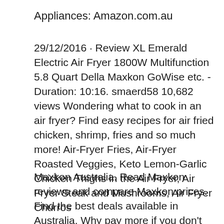Appliances: Amazon.com.au
29/12/2016 · Review XL Emerald Electric Air Fryer 1800W Multifunction 5.8 Quart Della Maxkon GoWise etc. - Duration: 10:16. smaerd58 10,682 views Wondering what to cook in an air fryer? Find easy recipes for air fried chicken, shrimp, fries and so much more! Air-Fryer Fries, Air-Fryer Roasted Veggies, Keto Lemon-Garlic Chicken Thighs in the Air Fryer, Air Fryer Steak and Mushrooms, Air Fryer Churros
Maxkon Australia. Read Maxkon reviews and compare Maxkon prices. Find the best deals available in Australia. Why pay more if you don't have to.